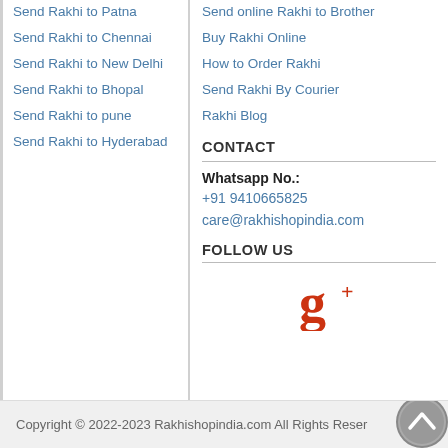Send Rakhi to Patna
Send Rakhi to Chennai
Send Rakhi to New Delhi
Send Rakhi to Bhopal
Send Rakhi to pune
Send Rakhi to Hyderabad
Send online Rakhi to Brother
Buy Rakhi Online
How to Order Rakhi
Send Rakhi By Courier
Rakhi Blog
CONTACT
Whatsapp No.:
+91 9410665825
care@rakhishopindia.com
FOLLOW US
[Figure (logo): Google Plus g+ icon in red/orange color]
Copyright © 2022-2023 Rakhishopindia.com All Rights Reser...